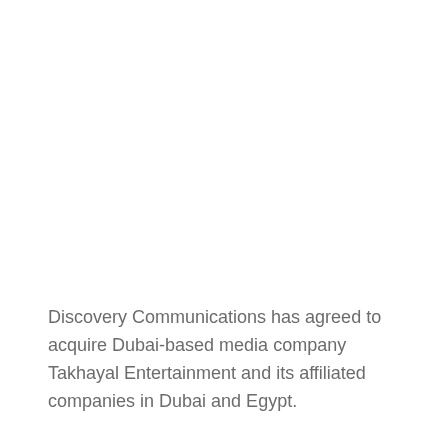Discovery Communications has agreed to acquire Dubai-based media company Takhayal Entertainment and its affiliated companies in Dubai and Egypt.